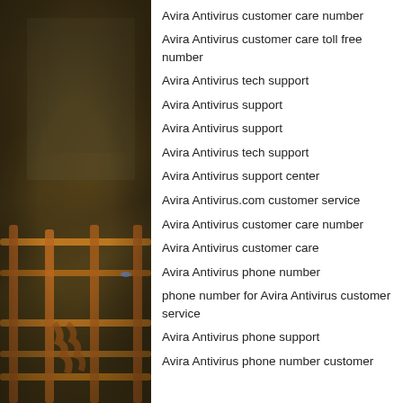[Figure (photo): Dark industrial/warehouse interior showing scaffolding or metal railing structures in orange/yellow tones, dimly lit]
Avira Antivirus customer care number
Avira Antivirus customer care toll free number
Avira Antivirus tech support
Avira Antivirus support
Avira Antivirus support
Avira Antivirus tech support
Avira Antivirus support center
Avira Antivirus.com customer service
Avira Antivirus customer care number
Avira Antivirus customer care
Avira Antivirus phone number
phone number for Avira Antivirus customer service
Avira Antivirus phone support
Avira Antivirus phone number customer